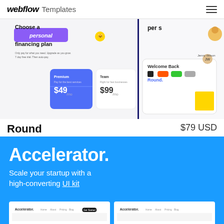webflow Templates
[Figure (screenshot): Webflow template preview showing a personal financing plan UI with pricing cards ($49 Premium, $99 Team) and a Round app dashboard interface]
Round
$79 USD
Startup
Accelerator.
Scale your startup with a high-converting UI kit
[Figure (screenshot): Two Accelerator template website screenshots at the bottom of the blue section]